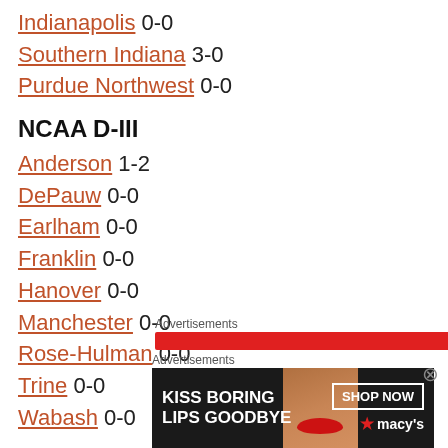Indianapolis 0-0
Southern Indiana 3-0
Purdue Northwest 0-0
NCAA D-III
Anderson 1-2
DePauw 0-0
Earlham 0-0
Franklin 0-0
Hanover 0-0
Manchester 0-0
Rose-Hulman 0-0
Trine 0-0
Wabash 0-0
Advertisements
[Figure (other): Macy's advertisement banner: KISS BORING LIPS GOODBYE with SHOP NOW button and macy's logo, showing woman's face with red lips]
Advertisements